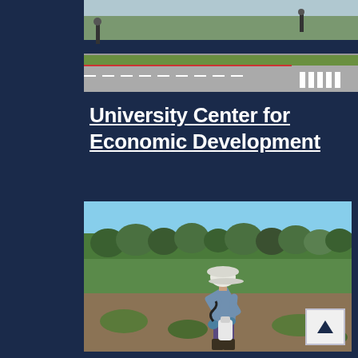[Figure (photo): Aerial or elevated view of a road intersection with crosswalk, green grass strip, and fence, with people and trees visible in the background]
University Center for Economic Development
[Figure (photo): A person wearing a white hat, blue shirt, and boots bending over and using a hand pump sprayer in a field with green grass and trees in the background]